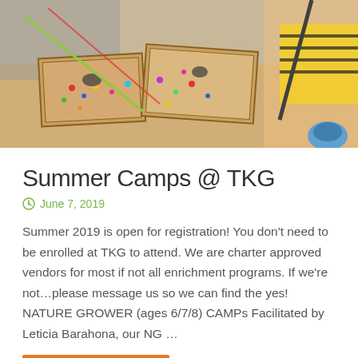[Figure (photo): Child in yellow striped shirt playing with wooden boxes containing colorful craft beads and small animal figurines on a table]
Summer Camps @ TKG
June 7, 2019
Summer 2019 is open for registration! You don't need to be enrolled at TKG to attend. We are charter approved vendors for most if not all enrichment programs. If we're not…please message us so we can find the yes! NATURE GROWER (ages 6/7/8) CAMPs Facilitated by Leticia Barahona, our NG …
Continue reading >